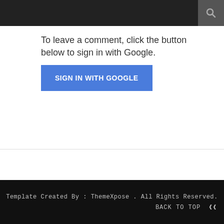To leave a comment, click the button below to sign in with Google.
[Figure (other): Blue 'SIGN IN WITH GOOGLE' button]
Template Created By : ThemeXpose . All Rights Reserved.
BACK TO TOP ❯❯